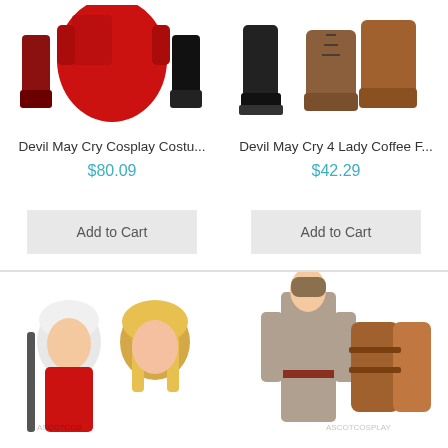[Figure (photo): Devil May Cry cosplay costume product image showing red dress and boots]
Devil May Cry Cosplay Costu...
$80.09
Add to Cart
[Figure (photo): Devil May Cry 4 Lady Coffee F... product image showing boots]
Devil May Cry 4 Lady Coffee F...
$42.29
Add to Cart
[Figure (photo): Devil May Cry character wigs product image showing white-haired male and blonde female characters]
[Figure (photo): Devil May Cry cosplay boots product image showing character in coat and brown boots]